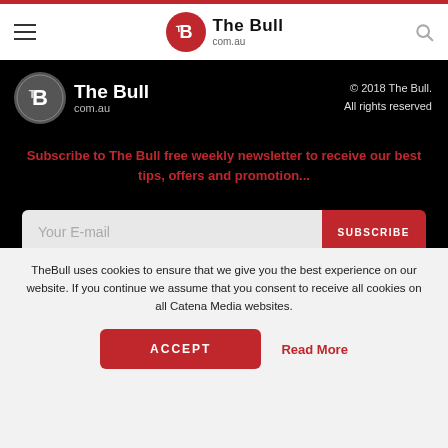The Bull com.au — navigation header
[Figure (logo): The Bull com.au logo with red circle TB emblem and site name, repeated in footer area]
© 2018 The Bull. All rights reserved
Subscribe to The Bull free weekly newsletter to receive our best tips, offers and promotion...
Your E-mail
HOME
NEWS
BROKERS
SHARE TIPS
TheBull uses cookies to ensure that we give you the best experience on our website. If you continue we assume that you consent to receive all cookies on all Catena Media websites.
ACCEPT
Read More